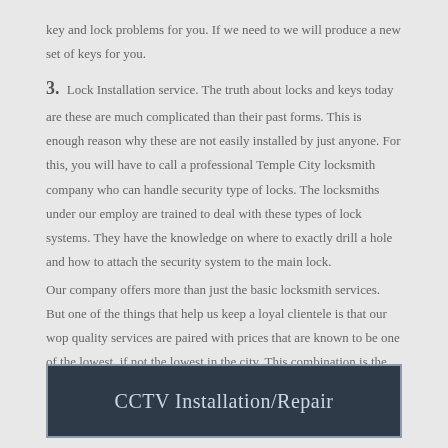key and lock problems for you. If we need to we will produce a new set of keys for you.
3. Lock Installation service. The truth about locks and keys today are these are much complicated than their past forms. This is enough reason why these are not easily installed by just anyone. For this, you will have to call a professional Temple City locksmith company who can handle security type of locks. The locksmiths under our employ are trained to deal with these types of lock systems. They have the knowledge on where to exactly drill a hole and how to attach the security system to the main lock.
Our company offers more than just the basic locksmith services. But one of the things that help us keep a loyal clientele is that our wop quality services are paired with prices that are known to be one of the lowest, if not the lowest in the city. This combination is the reason why people keep calling us.
CCTV Installation/Repair